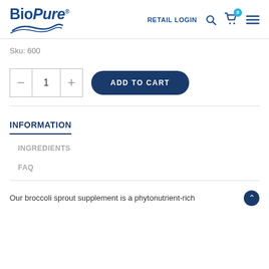[Figure (logo): BioPure logo with wave graphic and registered trademark symbol]
RETAIL LOGIN
Sku: 600
1  ADD TO CART
INFORMATION
INGREDIENTS
FAQ
Our broccoli sprout supplement is a phytonutrient-rich